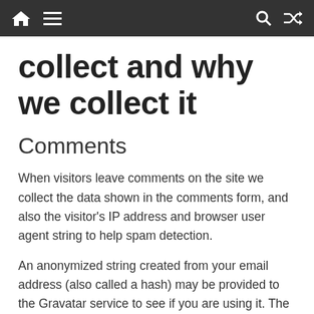[Navigation bar with home, menu, search, and shuffle icons]
collect and why we collect it
Comments
When visitors leave comments on the site we collect the data shown in the comments form, and also the visitor's IP address and browser user agent string to help spam detection.
An anonymized string created from your email address (also called a hash) may be provided to the Gravatar service to see if you are using it. The Gravatar service privacy policy is available here: https://automattic.com/privacy/. After approval of your